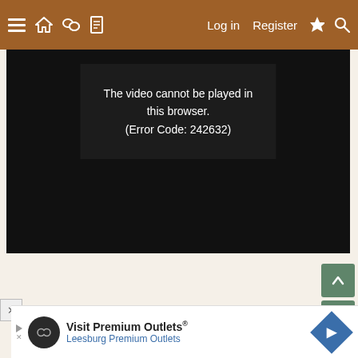≡ 🏠 💬 📄   Log in   Register   ⚡ 🔍
[Figure (screenshot): Video player showing error message: 'The video cannot be played in this browser. (Error Code: 242632)' on black background]
[Figure (other): Green scroll up button (arrow up)]
[Figure (other): Green scroll down button (arrow down)]
[Figure (other): Close button (X) in gray box]
[Figure (other): Advertisement banner: Visit Premium Outlets® Leesburg Premium Outlets with logo and navigation arrow]